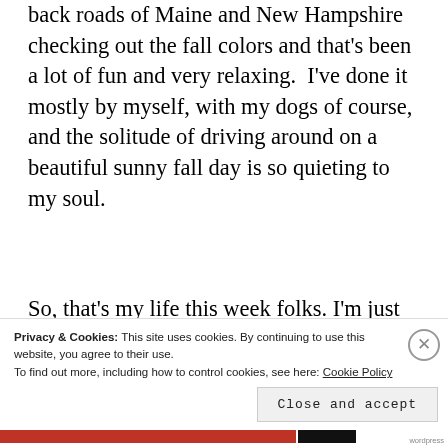back roads of Maine and New Hampshire checking out the fall colors and that's been a lot of fun and very relaxing.  I've done it mostly by myself, with my dogs of course, and the solitude of driving around on a beautiful sunny fall day is so quieting to my soul.
So, that's my life this week folks. I'm just hanging in there and trying to keep it all together.  I hope you all are doing well
Privacy & Cookies: This site uses cookies. By continuing to use this website, you agree to their use.
To find out more, including how to control cookies, see here: Cookie Policy
Close and accept